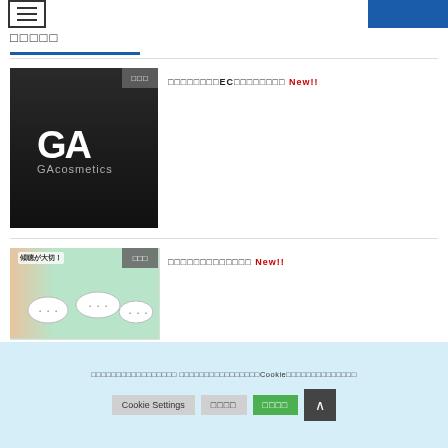[Figure (screenshot): Menu hamburger icon and blue button in header]
□□□□□
[Figure (photo): GA cosmetics dark product image with GA logo]
□□□□□□□□EC□□□□□□□□ New!!
[Figure (illustration): Illustration of people listening with speech bubbles and text 傾聴が大切！]
□□□□□□□□□□□□□ New!!
[Figure (photo): Third article thumbnail image]
3□□□□□□□□□,□□/□□□□□ New!!
□□□□□□□□□□□□□□□□□ □□□□□□□□□□□□□□□□Cookie□□□□□□□□□□□□□□
Cookie Settings
□□□□
□□□□